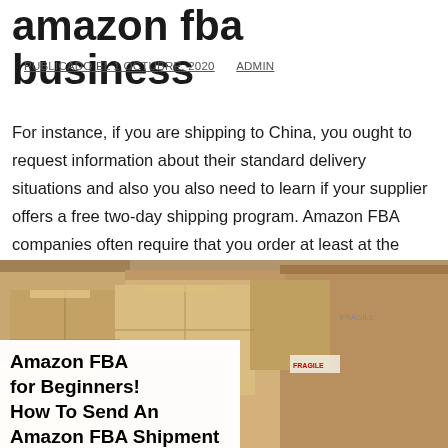amazon fba business
PUBLICADO EL 1 OCTUBRE, 2020   ADMIN
For instance, if you are shipping to China, you ought to request information about their standard delivery situations and also you also need to learn if your supplier offers a free two-day shipping program. Amazon FBA companies often require that you order at least at the least six products, which means you should also enquire about that requirement when you begin your search.
[Figure (photo): Photo of cardboard shipping boxes stacked, with an overlay text card reading: Amazon FBA for Beginners! How To Send An Amazon FBA Shipment]